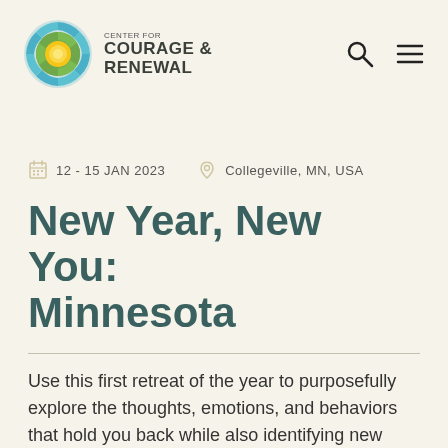[Figure (logo): Center for Courage & Renewal logo — circular mandala-style emblem with blue, green, and yellow segments around a yellow sun center, accompanied by text 'CENTER FOR COURAGE & RENEWAL']
12 - 15 JAN 2023    Collegeville, MN, USA
New Year, New You: Minnesota
Use this first retreat of the year to purposefully explore the thoughts, emotions, and behaviors that hold you back while also identifying new choices and practices that move you toward more authentic and